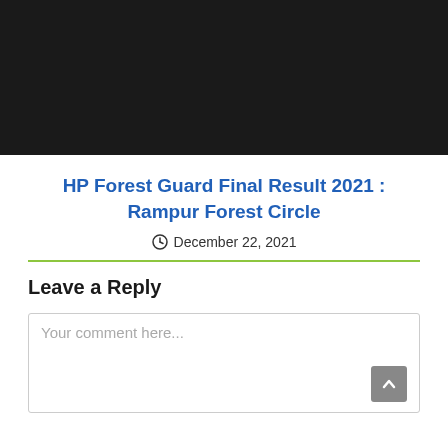[Figure (photo): Black/dark rectangular image area at the top of the page]
HP Forest Guard Final Result 2021 : Rampur Forest Circle
December 22, 2021
Leave a Reply
Your comment here...